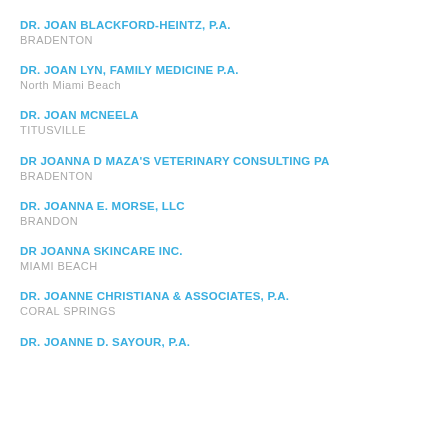DR. JOAN BLACKFORD-HEINTZ, P.A.
BRADENTON
DR. JOAN LYN, FAMILY MEDICINE P.A.
North Miami Beach
DR. JOAN MCNEELA
TITUSVILLE
DR JOANNA D MAZA'S VETERINARY CONSULTING PA
BRADENTON
DR. JOANNA E. MORSE, LLC
BRANDON
DR JOANNA SKINCARE INC.
MIAMI BEACH
DR. JOANNE CHRISTIANA & ASSOCIATES, P.A.
CORAL SPRINGS
DR. JOANNE D. SAYOUR, P.A.